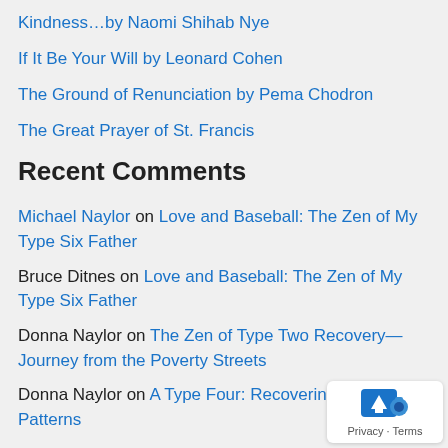Kindness…by Naomi Shihab Nye
If It Be Your Will by Leonard Cohen
The Ground of Renunciation by Pema Chodron
The Great Prayer of St. Francis
Recent Comments
Michael Naylor on Love and Baseball: The Zen of My Type Six Father
Bruce Ditnes on Love and Baseball: The Zen of My Type Six Father
Donna Naylor on The Zen of Type Two Recovery—Journey from the Poverty Streets
Donna Naylor on A Type Four: Recovering from One's Patterns
Donna Naylor on To my Beloved Brother, Peter…He who lov… first.